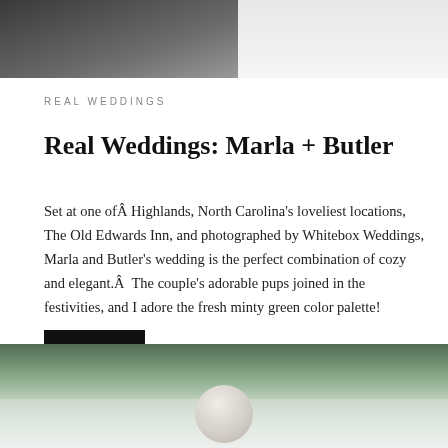[Figure (photo): Wedding photo showing couple (groom in dark suit, bride in white dress) partially visible at top of page]
REAL WEDDINGS
Real Weddings: Marla + Butler
Set at one ofÂ Highlands, North Carolina's loveliest locations, The Old Edwards Inn, and photographed by Whitebox Weddings, Marla and Butler's wedding is the perfect combination of cozy and elegant.Â  The couple's adorable pups joined in the festivities, and I adore the fresh minty green color palette!
SEE IT
[Figure (photo): Outdoor wedding photo with bokeh green foliage background and person visible at bottom]